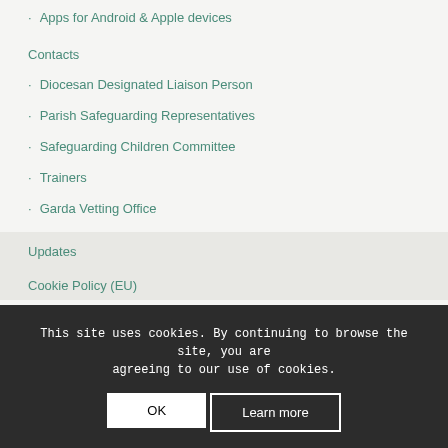Apps for Android & Apple devices
Contacts
Diocesan Designated Liaison Person
Parish Safeguarding Representatives
Safeguarding Children Committee
Trainers
Garda Vetting Office
Updates
Cookie Policy (EU)
This site uses cookies. By continuing to browse the site, you are agreeing to our use of cookies.
OK
Learn more